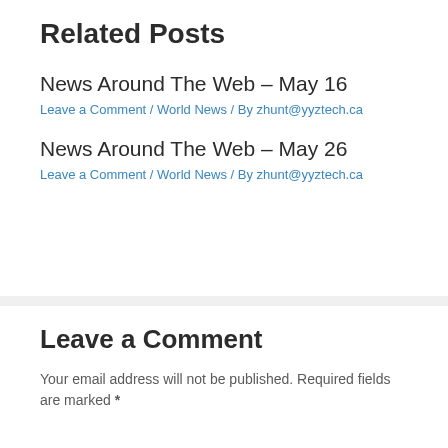Related Posts
News Around The Web – May 16
Leave a Comment / World News / By zhunt@yyztech.ca
News Around The Web – May 26
Leave a Comment / World News / By zhunt@yyztech.ca
Leave a Comment
Your email address will not be published. Required fields are marked *